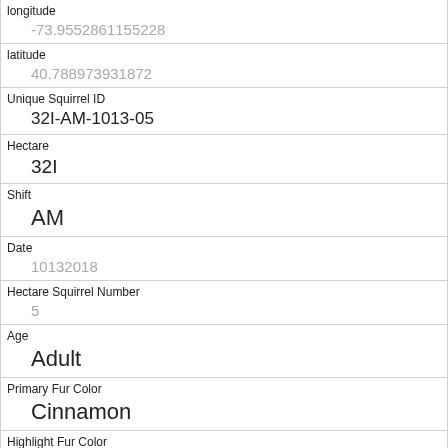| Field | Value |
| --- | --- |
| longitude | -73.9552861155228 |
| latitude | 40.788973931872 |
| Unique Squirrel ID | 32I-AM-1013-05 |
| Hectare | 32I |
| Shift | AM |
| Date | 10132018 |
| Hectare Squirrel Number | 5 |
| Age | Adult |
| Primary Fur Color | Cinnamon |
| Highlight Fur Color | Gray |